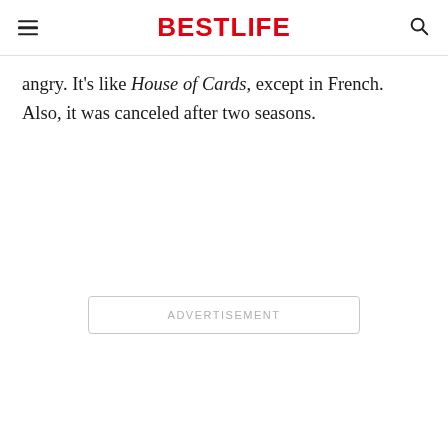BESTLIFE
angry. It's like House of Cards, except in French. Also, it was canceled after two seasons.
[Figure (other): Advertisement placeholder box with text ADVERTISEMENT]